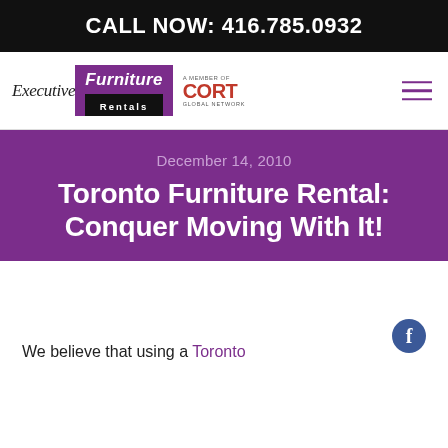CALL NOW: 416.785.0932
[Figure (logo): Executive Furniture Rentals logo with purple box and black Rentals strip, alongside CORT Global Network logo]
Toronto Furniture Rental: Conquer Moving With It!
December 14, 2010
We believe that using a Toronto